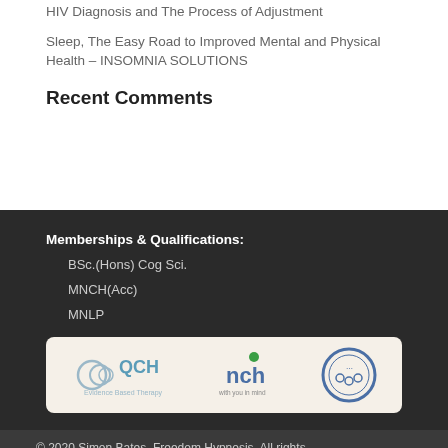HIV Diagnosis and The Process of Adjustment
Sleep, The Easy Road to Improved Mental and Physical Health – INSOMNIA SOLUTIONS
Recent Comments
Memberships & Qualifications:
BSc.(Hons) Cog Sci.
MNCH(Acc)
MNLP
[Figure (logo): Logos of QCH (Evidence Based Therapy), nch (with you in mind), and a circular badge/seal, on a cream background]
© 2020 Simon Bates, Freedom Hypnosis. All rights